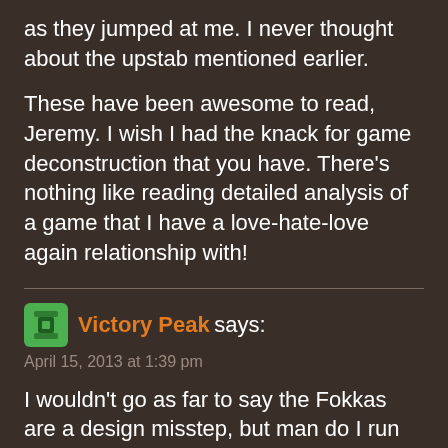as they jumped at me. I never thought about the upstab mentioned earlier.
These have been awesome to read, Jeremy. I wish I had the knack for game deconstruction that you have. There's nothing like reading detailed analysis of a game that I have a love-hate-love again relationship with!
Victory Peak says:
April 15, 2013 at 1:39 pm
I wouldn't go as far to say the Fokkas are a design misstep, but man do I run away from the blue ones as soon as they appear. They're basically as strong as